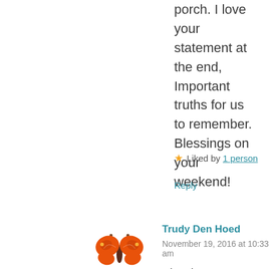porch. I love your statement at the end, Important truths for us to remember. Blessings on your weekend!
★ Liked by 1 person
Reply
[Figure (illustration): Orange butterfly emoji/icon used as commenter avatar]
Trudy Den Hoed
November 19, 2016 at 10:33 am
Thank you, June. I don't lie on the ground anymore either. Though I wish I had done so that day. 🙂 I am so awed by how God paints the skies. Always different. Always amazing. Always displaying His